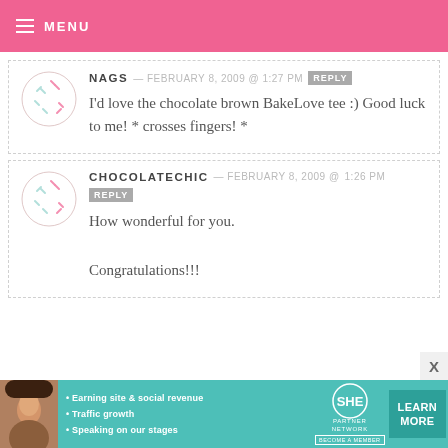MENU
NAGS — FEBRUARY 8, 2009 @ 1:27 PM [REPLY] — I'd love the chocolate brown BakeLove tee :) Good luck to me! * crosses fingers! *
CHOCOLATECHIC — FEBRUARY 8, 2009 @ 1:26 PM [REPLY] — How wonderful for you. Congratulations!!!
[Figure (infographic): SHE Partner Network advertisement banner with photo of a woman, bullet points: Earning site & social revenue, Traffic growth, Speaking on our stages. Learn More button.]